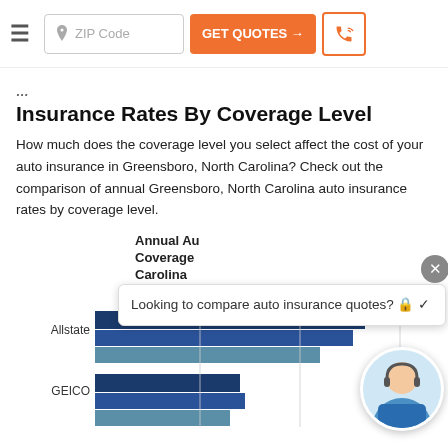ZIP Code | GET QUOTES →
Insurance Rates By Coverage Level
How much does the coverage level you select affect the cost of your auto insurance in Greensboro, North Carolina? Check out the comparison of annual Greensboro, North Carolina auto insurance rates by coverage level.
[Figure (bar-chart): Annual Auto Insurance Rates By Coverage Level in Greensboro, North Carolina]